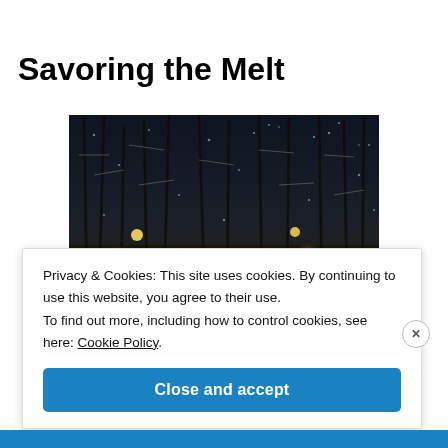Savoring the Melt
[Figure (photo): Night-time winter scene showing snow-covered bare trees illuminated by street lights against a dark blue sky.]
Privacy & Cookies: This site uses cookies. By continuing to use this website, you agree to their use.
To find out more, including how to control cookies, see here: Cookie Policy.
Close and accept